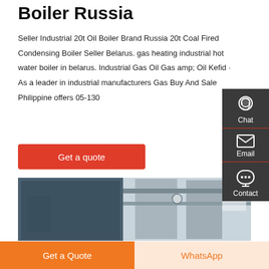Boiler Russia
Seller Industrial 20t Oil Boiler Brand Russia 20t Coal Fired Condensing Boiler Seller Belarus. gas heating industrial hot water boiler in belarus. Industrial Gas Oil Gas amp; Oil Kefid · As a leader in industrial manufacturers Gas Buy And Sale Philippine offers 05-130
[Figure (other): Red 'Get a quote' button]
[Figure (photo): Industrial boiler room showing large blue boiler unit on the left and silver/grey cylindrical tanks with piping on the right, industrial building interior]
[Figure (other): Sidebar with Chat, Email, Contact icons on dark grey background]
[Figure (other): Bottom bar with orange 'Get a Quote' button and light orange 'WhatsApp' button]